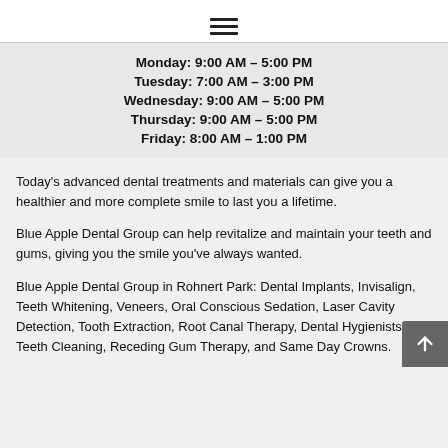☰ (hamburger menu icon)
Monday: 9:00 AM – 5:00 PM
Tuesday: 7:00 AM – 3:00 PM
Wednesday: 9:00 AM – 5:00 PM
Thursday: 9:00 AM – 5:00 PM
Friday: 8:00 AM – 1:00 PM
Today's advanced dental treatments and materials can give you a healthier and more complete smile to last you a lifetime.
Blue Apple Dental Group can help revitalize and maintain your teeth and gums, giving you the smile you've always wanted.
Blue Apple Dental Group in Rohnert Park: Dental Implants, Invisalign, Teeth Whitening, Veneers, Oral Conscious Sedation, Laser Cavity Detection, Tooth Extraction, Root Canal Therapy, Dental Hygienists, Teeth Cleaning, Receding Gum Therapy, and Same Day Crowns.